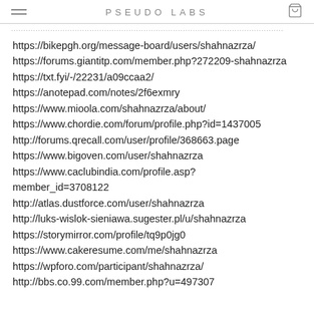PSEUDO LABS
https://bikepgh.org/message-board/users/shahnazrza/
https://forums.giantitp.com/member.php?272209-shahnazrza
https://txt.fyi/-/22231/a09ccaa2/
https://anotepad.com/notes/2f6exmry
https://www.mioola.com/shahnazrza/about/
https://www.chordie.com/forum/profile.php?id=1437005
http://forums.qrecall.com/user/profile/368663.page
https://www.bigoven.com/user/shahnazrza
https://www.caclubindia.com/profile.asp?member_id=3708122
http://atlas.dustforce.com/user/shahnazrza
http://luks-wislok-sieniawa.sugester.pl/u/shahnazrza
https://storymirror.com/profile/tq9p0jg0
https://www.cakeresume.com/me/shahnazrza
https://wpforo.com/participant/shahnazrza/
http://bbs.co.99.com/member.php?u=497307